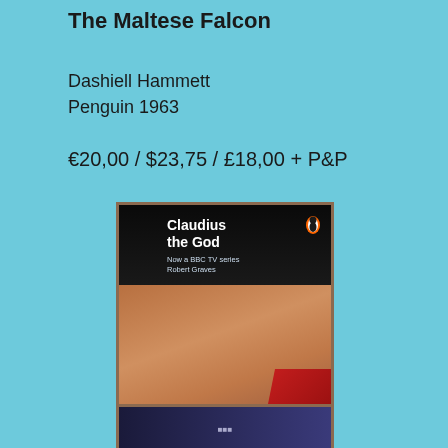The Maltese Falcon
Dashiell Hammett
Penguin 1963
€20,00  / $23,75  / £18,00 + P&P
[Figure (photo): Photo of a paperback book cover: 'Claudius the God — Now a BBC TV series — Robert Graves', Penguin edition, showing an actor wearing a laurel wreath against a dark background with red drape]
[Figure (photo): Partial view of another book or media item, partially visible at bottom of page]